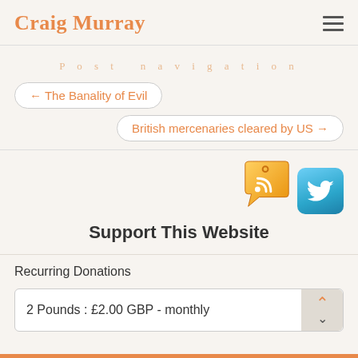Craig Murray
Post navigation
← The Banality of Evil
British mercenaries cleared by US →
[Figure (illustration): RSS tag icon (orange RSS feed tag) and Twitter bird icon (blue rounded square with white bird)]
Support This Website
Recurring Donations
2 Pounds : £2.00 GBP - monthly